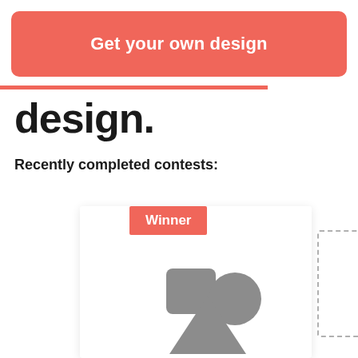[Figure (screenshot): Red/coral rounded rectangle button with white bold text reading 'Get your own design']
design.
Recently completed contests:
[Figure (screenshot): A white card with a red 'Winner' badge in the top-left corner, and gray placeholder shapes (rounded square, circle, triangle) in the center of the card. A partially visible dashed-border card appears to the right.]